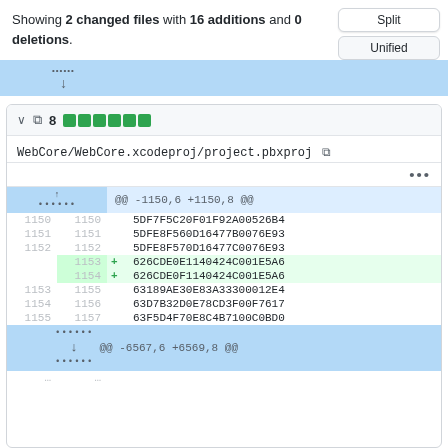Showing 2 changed files with 16 additions and 0 deletions.
[Figure (screenshot): Split/Unified view toggle buttons]
[Figure (screenshot): Git diff view for WebCore/WebCore.xcodeproj/project.pbxproj showing 8 additions with @@ -1150,6 +1150,8 @@ hunk header and lines 1150-1157 with additions at 1153 and 1154, and @@ -6567,6 +6569,8 @@ hunk at bottom]
WebCore/WebCore.xcodeproj/project.pbxproj